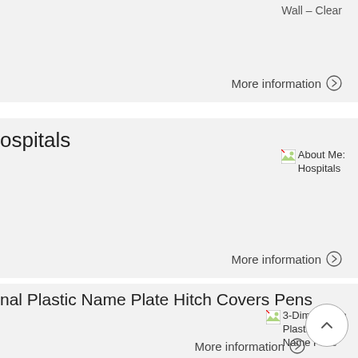Wall - Clear
More information →
ospitals
[Figure (photo): Broken image placeholder labeled 'About Me: Hospitals']
More information →
nal Plastic Name Plate Hitch Covers Pens
[Figure (photo): Broken image placeholder labeled '3-Dimensional Plastic Name Plate']
More information →